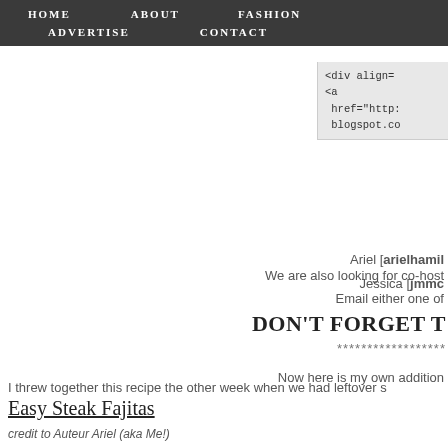HOME   ABOUT   FASHION   ADVERTISE   CONTACT
[Figure (screenshot): Code snippet showing HTML with <div align= and <a href="http: blogspot.co...]
We are also looking for co-host
Email either one of
Ariel [arielhamil
Jessica [jmmc
DON'T FORGET T
******************
Now here is my own addition
I threw together this recipe the other week when we had leftover s
Easy Steak Fajitas
credit to Auteur Ariel (aka Me!)